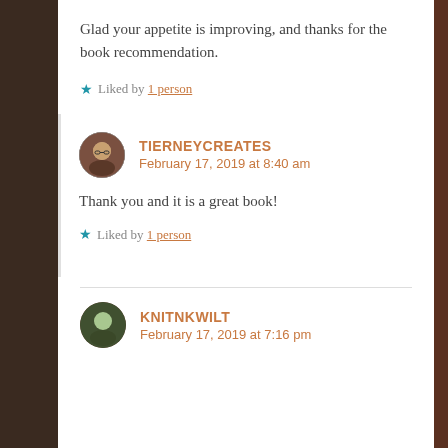Glad your appetite is improving, and thanks for the book recommendation.
Liked by 1 person
TIERNEYCREATES
February 17, 2019 at 8:40 am
Thank you and it is a great book!
Liked by 1 person
KNITNKWILT
February 17, 2019 at 7:16 pm